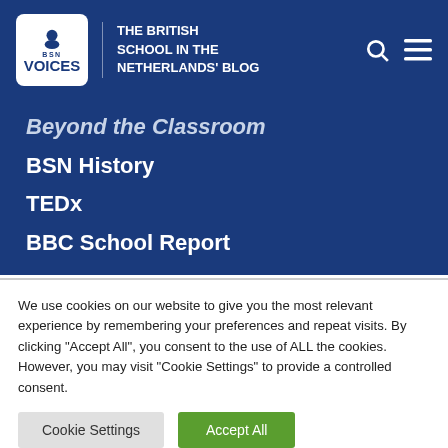BSN VOICES — THE BRITISH SCHOOL IN THE NETHERLANDS' BLOG
Beyond the Classroom
BSN History
TEDx
BBC School Report
We use cookies on our website to give you the most relevant experience by remembering your preferences and repeat visits. By clicking "Accept All", you consent to the use of ALL the cookies. However, you may visit "Cookie Settings" to provide a controlled consent.